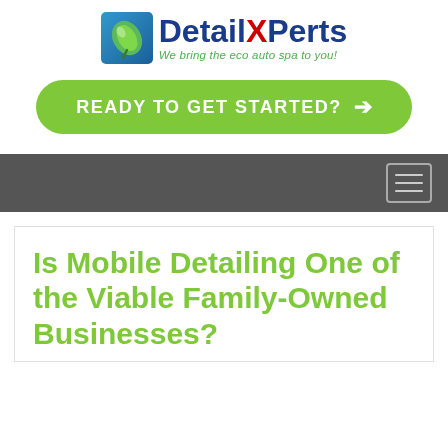[Figure (logo): DetailXPerts logo — leaf icon on blue/green square background, with brand name 'DetailXPerts' in blue/red and tagline 'We bring the eco auto spa to you!' in green italic]
READY TO GET STARTED? →
Navigation bar with hamburger menu icon
Is Mobile Detailing One of the Viable Family-Owned Businesses?